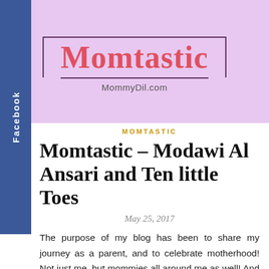[Figure (logo): Momtastic blog logo with coral/red text on lavender/purple background with decorative border. Site URL MommyDil.com shown below logo.]
MOMTASTIC
Momtastic – Modawi Al Ansari and Ten little Toes
May 25, 2017
The purpose of my blog has been to share my journey as a parent, and to celebrate motherhood! Not just me, but mommies all around me as well! And with that in mind, I am starting a new section called MOMTASTIC 🙂! I will be interviewing inspirational mommas who are wearing multiple hats, and managing it all with panache! The Mommy for May is Modawi Al Ansari – a mom to 4 kids, a